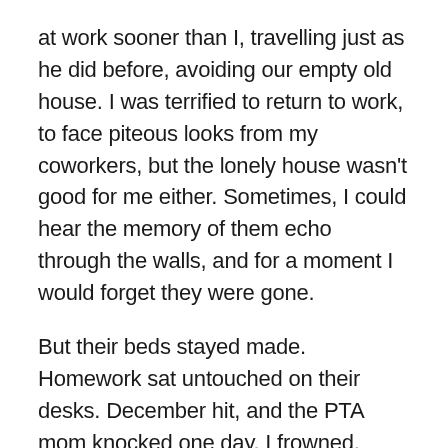at work sooner than I, travelling just as he did before, avoiding our empty old house. I was terrified to return to work, to face piteous looks from my coworkers, but the lonely house wasn't good for me either. Sometimes, I could hear the memory of them echo through the walls, and for a moment I would forget they were gone.
But their beds stayed made. Homework sat untouched on their desks. December hit, and the PTA mom knocked one day. I frowned.
“Janet, hi,” I said. I pushed a smile.
“Hi, Dena, sweetie. How are you holding up?”